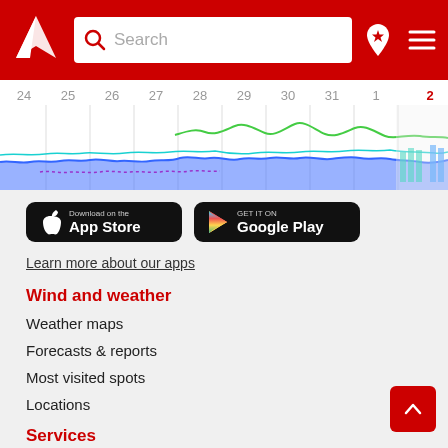Windy.com navigation header with search bar and icons
[Figure (continuous-plot): Wind/weather chart strip showing date axis (24–2) with colored wave lines (blue, green, purple) representing weather data over time]
[Figure (logo): Download on the App Store button (black rounded rectangle, Apple logo)]
[Figure (logo): GET IT ON Google Play button (black rounded rectangle, Play Store triangle logo)]
Learn more about our apps
Wind and weather
Weather maps
Forecasts & reports
Most visited spots
Locations
Services